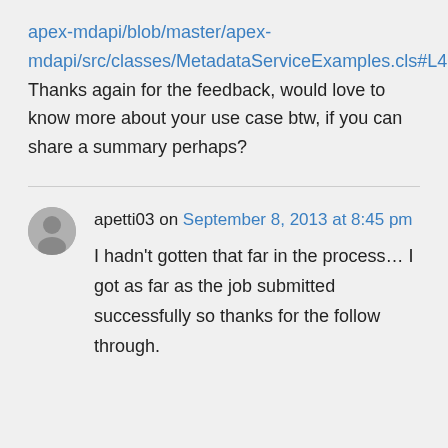apex-mdapi/blob/master/apex-mdapi/src/classes/MetadataServiceExamples.cls#L408. Thanks again for the feedback, would love to know more about your use case btw, if you can share a summary perhaps?
apetti03 on September 8, 2013 at 8:45 pm
I hadn't gotten that far in the process… I got as far as the job submitted successfully so thanks for the follow through.